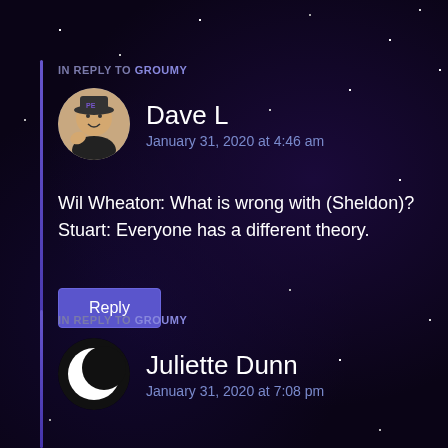IN REPLY TO GROUMY
Dave L
January 31, 2020 at 4:46 am
Wil Wheaton: What is wrong with (Sheldon)?
Stuart: Everyone has a different theory.
Reply
IN REPLY TO GROUMY
Juliette Dunn
January 31, 2020 at 7:08 pm